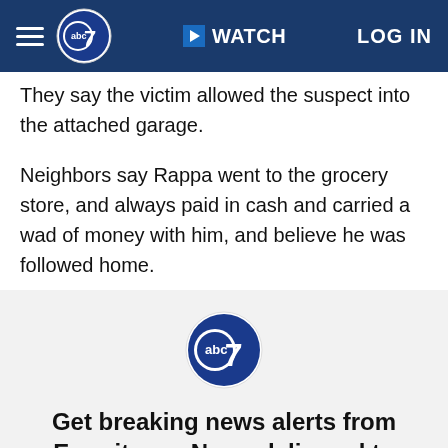abc7 | WATCH | LOG IN
They say the victim allowed the suspect into the attached garage.
Neighbors say Rappa went to the grocery store, and always paid in cash and carried a wad of money with him, and believe he was followed home.
[Figure (logo): ABC7 Eyewitness News logo - circular logo with 'abc' text and '7' numeral in blue and white]
Get breaking news alerts from Eyewitness News delivered to your inbox
Sign up for our breaking newsletter